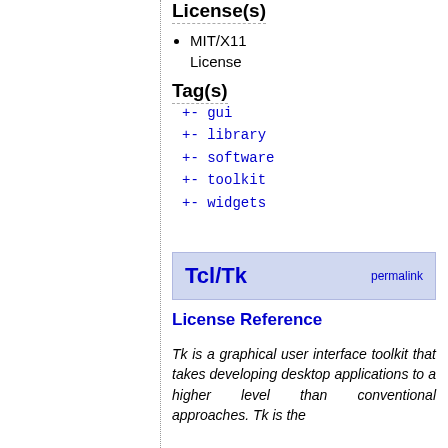License(s)
MIT/X11 License
Tag(s)
+- gui
+- library
+- software
+- toolkit
+- widgets
Tcl/Tk
License Reference
Tk is a graphical user interface toolkit that takes developing desktop applications to a higher level than conventional approaches. Tk is the